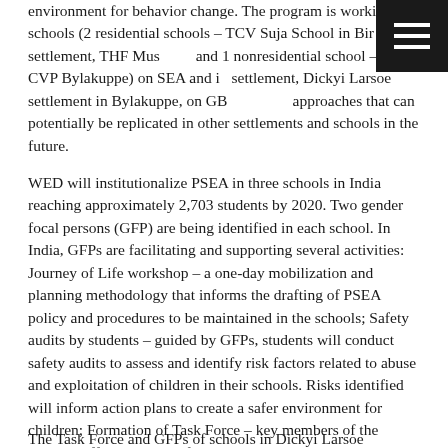environment for behavior change. The program is working in 3 schools (2 residential schools – TCV Suja School in Bir settlement, THF Musoorie and 1 nonresidential school – CST CVP Bylakuppe) on SEA and in settlement, Dickyi Larsoe settlement in Bylakuppe, on GBV, to pilot approaches that can potentially be replicated in other settlements and schools in the future.
WED will institutionalize PSEA in three schools in India reaching approximately 2,703 students by 2020. Two gender focal persons (GFP) are being identified in each school. In India, GFPs are facilitating and supporting several activities: Journey of Life workshop – a one-day mobilization and planning methodology that informs the drafting of PSEA policy and procedures to be maintained in the schools; Safety audits by students – guided by GFPs, students will conduct safety audits to assess and identify risk factors related to abuse and exploitation of children in their schools. Risks identified will inform action plans to create a safer environment for children; Formation of Task Force – key members of the school staff will be identified as Task Force representatives to draft, finalize and implement a set of PSEA policy and procedures in consultation with all stakeholders in the school; Tree of Life – a psychosocial support tool is being used with children to build their confidence to report protection issues and seek support.
The Task Force and GFPs of schools in Dickyi Larsoe settlement will